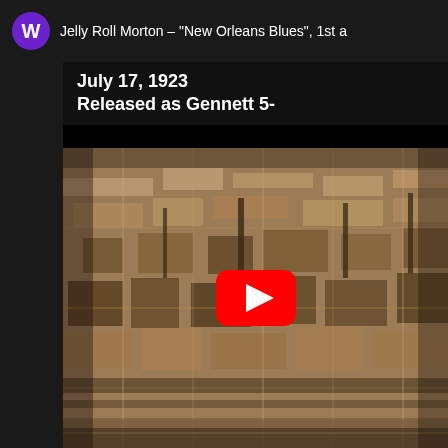W  Jelly Roll Morton – "New Orleans Blues", 1st a...
July 17, 1923
Released as Gennett 5-
[Figure (screenshot): A sepia-toned aerial photograph of a dense urban neighborhood, likely New Orleans, with a YouTube play button overlay in the center.]